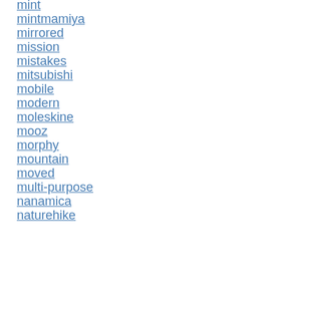mint
mintmamiya
mirrored
mission
mistakes
mitsubishi
mobile
modern
moleskine
mooz
morphy
mountain
moved
multi-purpose
nanamica
naturehike